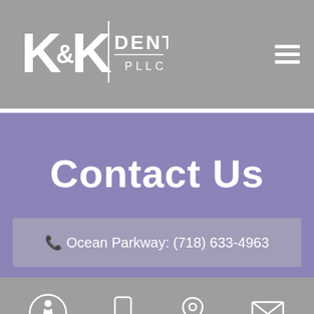[Figure (logo): K&K Dental PLLC logo with white stylized K&K letters and DENTAL PLLC text on gray background]
Contact Us
📞 Ocean Parkway: (718) 633-4963
[Figure (infographic): Footer bar with accessibility icon, mobile phone icon, location pin icon, and email envelope icon]